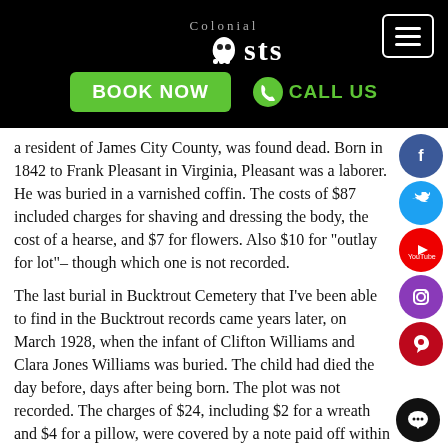[Figure (logo): Colonial Ghosts logo on black background with hamburger menu button]
[Figure (infographic): BOOK NOW green button and CALL US green text with phone icon on black bar]
a resident of James City County, was found dead. Born in 1842 to Frank Pleasant in Virginia, Pleasant was a laborer. He was buried in a varnished coffin. The costs of $87 included charges for shaving and dressing the body, the cost of a hearse, and $7 for flowers. Also $10 for "outlay for lot"– though which one is not recorded.
The last burial in Bucktrout Cemetery that I've been able to find in the Bucktrout records came years later, on March 1928, when the infant of Clifton Williams and Clara Jones Williams was buried. The child had died the day before, days after being born. The plot was not recorded. The charges of $24, including $2 for a wreath and $4 for a pillow, were covered by a note paid off within a few months by Clara Williams in four payments ($10, $5, $4, and $6). The casket was lined with lambskin.
Buried in unrecorded locations in Bucktrout Cemetery: James Cooke, buried September 19, 1918; Cornita Moss